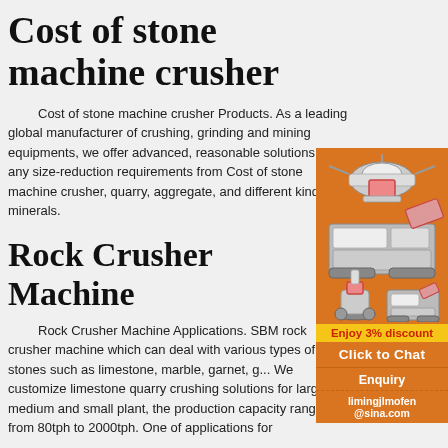Cost of stone machine crusher
Cost of stone machine crusher Products. As a leading global manufacturer of crushing, grinding and mining equipments, we offer advanced, reasonable solutions for any size-reduction requirements from Cost of stone machine crusher, quarry, aggregate, and different kinds of minerals.
Rock Crusher Machine
[Figure (illustration): Advertisement panel with orange background showing industrial crushing machine equipment photos, 'Enjoy 3% discount' yellow bar, 'Click to Chat' button, Enquiry section, and email limingjlmofen@sina.com]
Rock Crusher Machine Applications. SBM rock crusher machine which can deal with various types of stones such as limestone, marble, garnet, g... We customize limestone quarry crushing solutions for large, medium and small plant, the production capacity ranges from 80tph to 2000tph. One of applications for